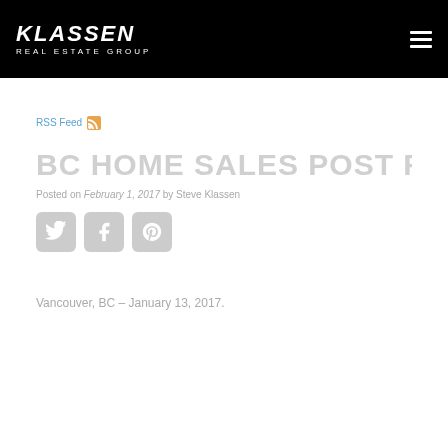KLASSEN REAL ESTATE GROUP
RSS Feed
BC HOME SALES POST RECO
Posted on February 1, 2017 by Steve Klassen
[Figure (other): Social share buttons: Twitter, Facebook, Pinterest]
Vancouver, BC – January 13, 2017.